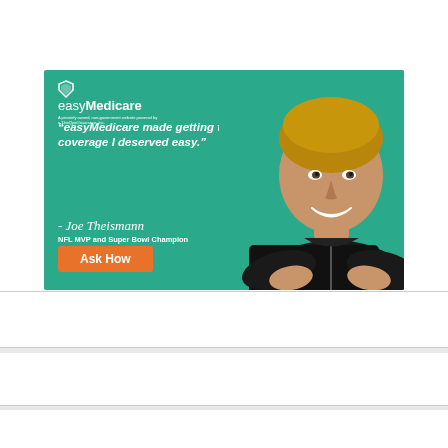[Figure (advertisement): easyMedicare advertisement featuring Joe Theismann, NFL MVP and Super Bowl Champion, on a teal/green background. Quote reads: 'easyMedicare made getting the coverage I deserved easy.' with an orange 'Ask How' button. Phone number 855-505-9104 shown below the ad image.]